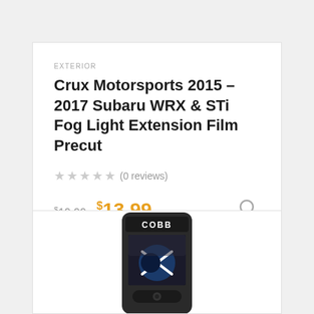EXTERIOR
Crux Motorsports 2015 – 2017 Subaru WRX & STi Fog Light Extension Film Precut
★★★★★ (0 reviews)
$19.99  $13.99
[Figure (photo): COBB Accessport device showing a Subaru emblem on its screen]